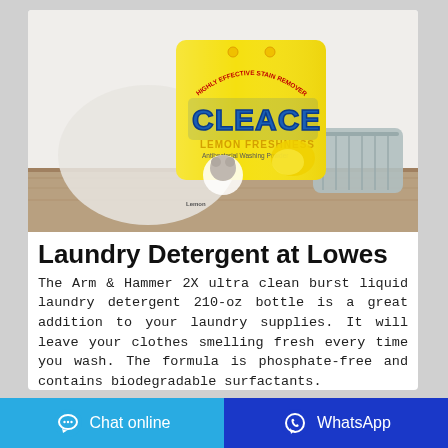[Figure (photo): Yellow bag of CLEACE Lemon Freshness antibacterial washing powder laundry detergent on a wooden surface with a white background and a gray basket.]
Laundry Detergent at Lowes
The Arm & Hammer 2X ultra clean burst liquid laundry detergent 210-oz bottle is a great addition to your laundry supplies. It will leave your clothes smelling fresh every time you wash. The formula is phosphate-free and contains biodegradable surfactants.
Chat online   WhatsApp